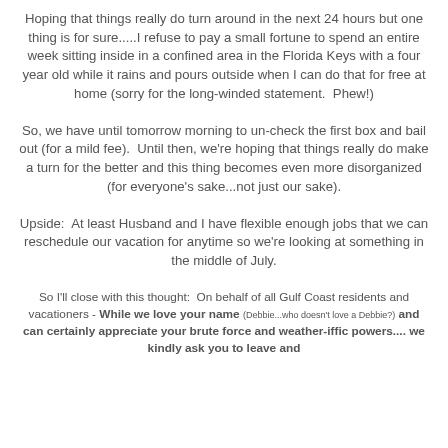Hoping that things really do turn around in the next 24 hours but one thing is for sure.....I refuse to pay a small fortune to spend an entire week sitting inside in a confined area in the Florida Keys with a four year old while it rains and pours outside when I can do that for free at home (sorry for the long-winded statement.  Phew!)
So, we have until tomorrow morning to un-check the first box and bail out (for a mild fee).  Until then, we're hoping that things really do make a turn for the better and this thing becomes even more disorganized (for everyone's sake...not just our sake).
Upside:  At least Husband and I have flexible enough jobs that we can reschedule our vacation for anytime so we're looking at something in the middle of July.
So I'll close with this thought:  On behalf of all Gulf Coast residents and vacationers - While we love your name (Debbie...who doesn't love a Debbie?) and can certainly appreciate your brute force and weather-iffic powers.... we kindly ask you to leave and